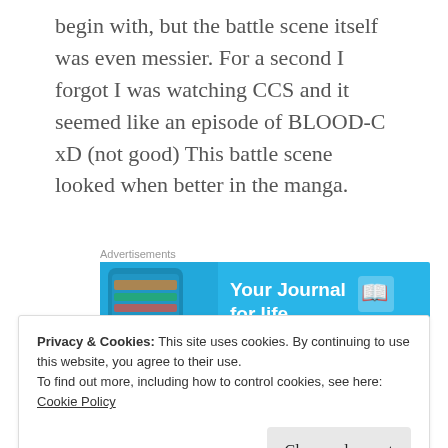begin with, but the battle scene itself was even messier. For a second I forgot I was watching CCS and it seemed like an episode of BLOOD-C xD (not good) This battle scene looked when better in the manga.
[Figure (screenshot): Advertisement banner for Day One journal app with blue background, phone image, and text 'Your Journal for life']
Now that we know that the clow cards are being
Privacy & Cookies: This site uses cookies. By continuing to use this website, you agree to their use.
To find out more, including how to control cookies, see here: Cookie Policy